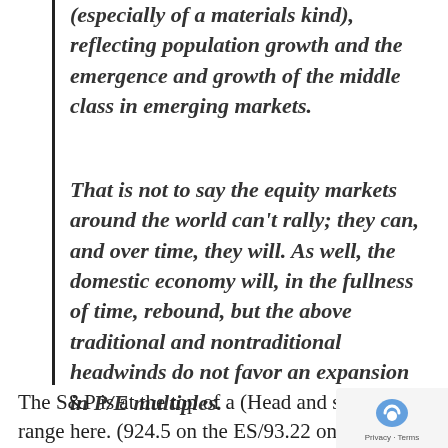(especially of a materials kind), reflecting population growth and the emergence and growth of the middle class in emerging markets.
That is not to say the equity markets around the world can't rally; they can, and over time, they will. As well, the domestic economy will, in the fullness of time, rebound, but the above traditional and nontraditional headwinds do not favor an expansion in P/E multiples.
The S&P is at the top of a (Head and should range here. (924.5 on the ES/93.22 on the S…).